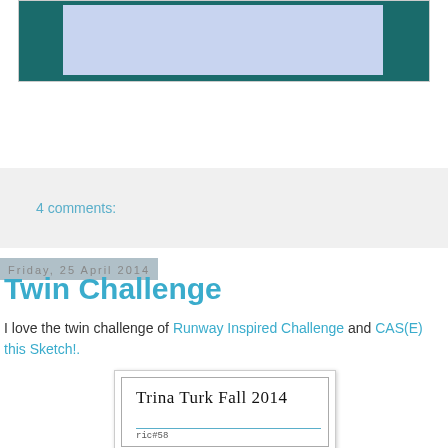[Figure (photo): Top portion of a card or artwork with teal/dark green border and light blue/lavender inner rectangle, partially cropped at top]
4 comments:
Friday, 25 April 2014
Twin Challenge
I love the twin challenge of Runway Inspired Challenge and CAS(E) this Sketch!.
[Figure (photo): Image showing handwritten text 'Trina Turk Fall 2014' with 'ric#58' label below, inside a bordered rectangle]